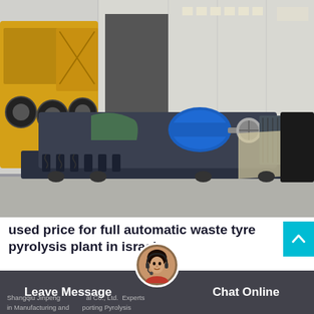[Figure (photo): Industrial machinery photograph showing a large dark grey/black machine (waste tyre pyrolysis or shredding equipment) with a blue electric motor mounted on top, sitting on a flat bed frame in an outdoor factory yard. Yellow heavy machinery and a grey warehouse building visible in the background.]
used price for full automatic waste tyre pyrolysis plant in israel
Shangqiu Jinpeng Industrial Co., Ltd. Experts in Manufacturing and Exporting Pyrolysis